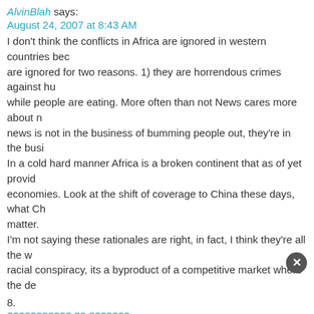AlvinBlah says:
August 24, 2007 at 8:43 AM
I don't think the conflicts in Africa are ignored in western countries bec... are ignored for two reasons. 1) they are horrendous crimes against hu... while people are eating. More often than not News cares more about n... news is not in the business of bumming people out, they're in the busi... In a cold hard manner Africa is a broken continent that as of yet provid... economies. Look at the shift of coverage to China these days, what Ch... matter. I'm not saying these rationales are right, in fact, I think they're all the w... racial conspiracy, its a byproduct of a competitive market where the de...
8.
??????????? ?? ??????? says:
January 16, 2013 at 8:36 AM
Hi...
really good post…
9.
http://www.youtube.com/watch?v=ieOv58EESNo says:
January 18, 2013 at 2:55 PM
Hellow...